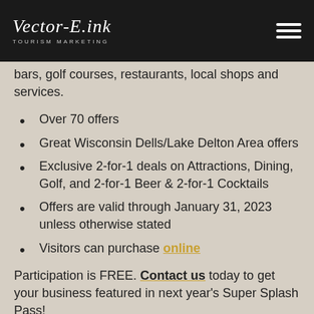Vector-E.ink TOURISM MARKETING
bars, golf courses, restaurants, local shops and services.
Over 70 offers
Great Wisconsin Dells/Lake Delton Area offers
Exclusive 2-for-1 deals on Attractions, Dining, Golf, and 2-for-1 Beer & 2-for-1 Cocktails
Offers are valid through January 31, 2023 unless otherwise stated
Visitors can purchase online
Participation is FREE. Contact us today to get your business featured in next year's Super Splash Pass!